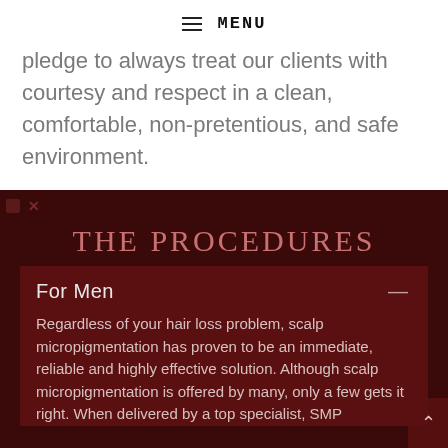MENU
pledge to always treat our clients with courtesy and respect in a clean, comfortable, non-pretentious, and safe environment.
THE PROCEDURES
For Men
Regardless of your hair loss problem, scalp micropigmentation has proven to be an immediate, reliable and highly effective solution. Although scalp micropigmentation is offered by many, only a few gets it right. When delivered by a top specialist, SMP